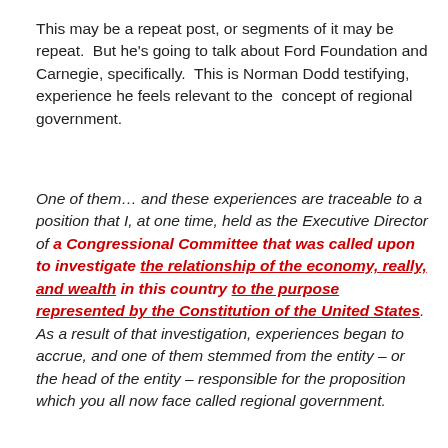This may be a repeat post, or segments of it may be repeat. But he's going to talk about Ford Foundation and Carnegie, specifically. This is Norman Dodd testifying, experience he feels relevant to the concept of regional government.
One of them… and these experiences are traceable to a position that I, at one time, held as the Executive Director of a Congressional Committee that was called upon to investigate the relationship of the economy, really, and wealth in this country to the purpose represented by the Constitution of the United States. As a result of that investigation, experiences began to accrue, and one of them stemmed from the entity – or the head of the entity – responsible for the proposition which you all now face called regional government.